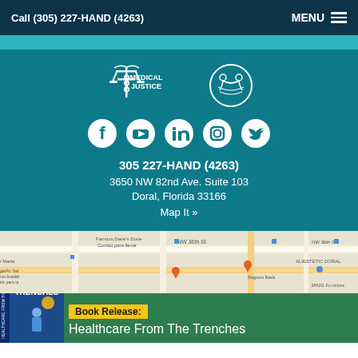Call (305) 227-HAND (4263)   MENU
[Figure (logo): Medical Justice logo with caduceus symbol and text 'MEDICAL JUSTICE', plus a secondary circular badge logo]
[Figure (infographic): Social media icons row: Facebook, YouTube, LinkedIn, Instagram, Twitter — all white on teal background]
305 227-HAND (4263)
3650 NW 82nd Ave. Suite 103
Doral, Florida 33166
Map It »
[Figure (map): Google Maps screenshot showing area around 3650 NW 82nd Ave, Doral, FL. Shows NW 36th St, Famous Dave's Doral, Miyako Doral Japanese Restaurant & Sushi Bar, Regions Bank, MH2G Furniture, ALIESTETIC DORAL, with orange map pin markers.]
[Figure (photo): Book cover for 'Healthcare From The Trenches' with blue spine text visible, and a person in blue shirt on the cover]
Book Release:
Healthcare From The Trenches